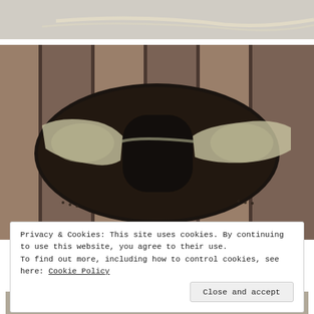[Figure (photo): Top portion of a photo, partial view — light colored rope or cord on a light background]
[Figure (photo): Top-down photo of folded eyeglasses with translucent frames stored in a black leather eyeglass case/sleeve, placed on a wooden slatted surface]
Privacy & Cookies: This site uses cookies. By continuing to use this website, you agree to their use.
To find out more, including how to control cookies, see here: Cookie Policy
Close and accept
[Figure (photo): Bottom sliver of a photo showing what appears to be another item on a surface]